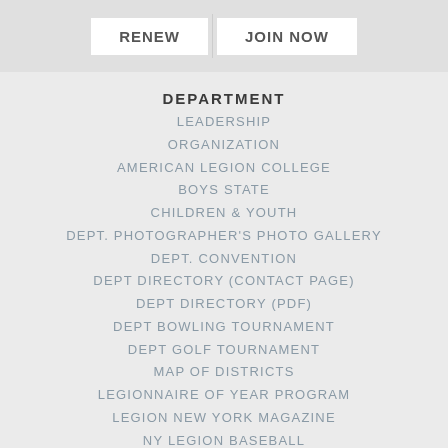[Figure (screenshot): Two buttons: RENEW and JOIN NOW on a light gray bar]
DEPARTMENT
LEADERSHIP
ORGANIZATION
AMERICAN LEGION COLLEGE
BOYS STATE
CHILDREN & YOUTH
DEPT. PHOTOGRAPHER'S PHOTO GALLERY
DEPT. CONVENTION
DEPT DIRECTORY (CONTACT PAGE)
DEPT DIRECTORY (PDF)
DEPT BOWLING TOURNAMENT
DEPT GOLF TOURNAMENT
MAP OF DISTRICTS
LEGIONNAIRE OF YEAR PROGRAM
LEGION NEW YORK MAGAZINE
NY LEGION BASEBALL
AM LEGION RIDERS
NY AMERICAN LEGION NEWS
NY AMERICAN LEGION PRESS ASSOCIATION